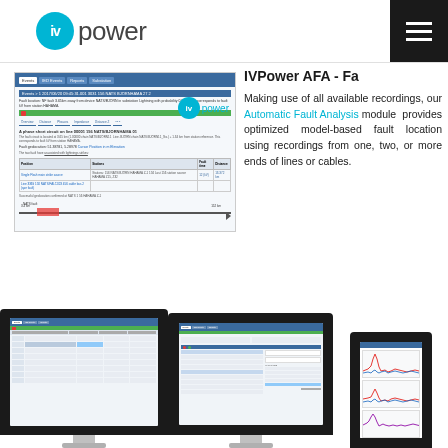[Figure (logo): IVPower logo: teal circle with 'iv' text followed by 'power' in gray sans-serif]
[Figure (screenshot): IVPower AFA software screenshot showing fault analysis interface with event details, green status bar, fault location table, and diagram]
IVPower AFA - Fa
Making use of all available recordings, our Automatic Fault Analysis module provides optimized model-based fault location using recordings from one, two, or more ends of lines or cables.
[Figure (screenshot): Monitor screenshot 1 showing IVPower AFA event list with table rows]
[Figure (screenshot): Monitor screenshot 2 showing IVPower AFA detailed fault analysis view]
[Figure (screenshot): Monitor screenshot 3 (partial) showing waveform graph views]